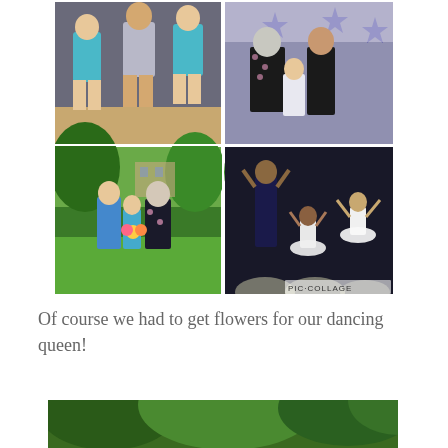[Figure (photo): Photo collage of dance recital scenes: top-left shows girls in sparkly teal/silver costumes dancing on stage; top-right shows an older woman with two young girls in front of a star-decorated backdrop; bottom-left shows three people outdoors on grass, one holding flowers; bottom-right shows young children in white tutus performing on a lit stage. PIC·COLLAGE watermark in bottom-right.]
Of course we had to get flowers for our dancing queen!
[Figure (photo): Partial view of outdoor scene with green tree canopy visible at the bottom of the page.]